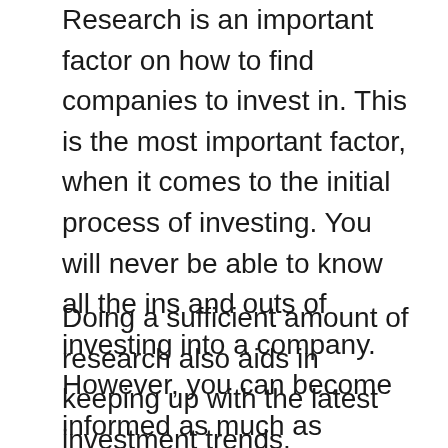Research is an important factor on how to find companies to invest in. This is the most important factor, when it comes to the initial process of investing. You will never be able to know all the ins and outs of investing into a company. However, you can become informed as much as possible. This will help you to make educated decisions, when it comes to finding the right company.
Doing a sufficient amount of research also aids in keeping up with the latest investment trends. Developments in the investment world are changing at a rapid pace, and are showing no signs of slowing down. When you decide to go forward with a company, you can rest assured